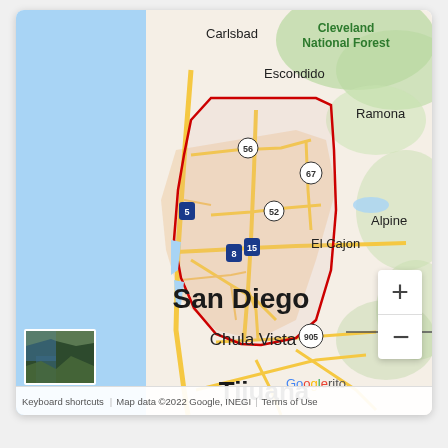[Figure (map): Google Maps screenshot showing San Diego area in Southern California. Visible cities include San Diego, Chula Vista, El Cajon, Escondido, Carlsbad, Ramona, Alpine, and Tijuana (Mexico). A red boundary polygon marks the San Diego city limits. Major highways (I-5, I-8, I-15, SR-52, SR-56, SR-67, SR-905) are shown. The Pacific Ocean is on the left (blue). Cleveland National Forest is labeled in the upper right in green. A satellite thumbnail is shown in the lower left corner. Zoom +/- controls appear in the lower right. Footer shows: 'Keyboard shortcuts | Map data ©2022 Google, INEGI | Terms of Use'.]